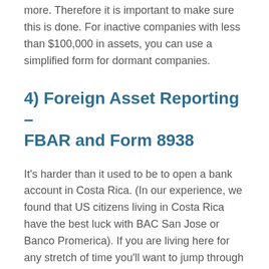more. Therefore it is important to make sure this is done. For inactive companies with less than $100,000 in assets, you can use a simplified form for dormant companies.
4) Foreign Asset Reporting – FBAR and Form 8938
It's harder than it used to be to open a bank account in Costa Rica. (In our experience, we found that US citizens living in Costa Rica have the best luck with BAC San Jose or Banco Promerica). If you are living here for any stretch of time you'll want to jump through the hoops to make sure you can open an account.